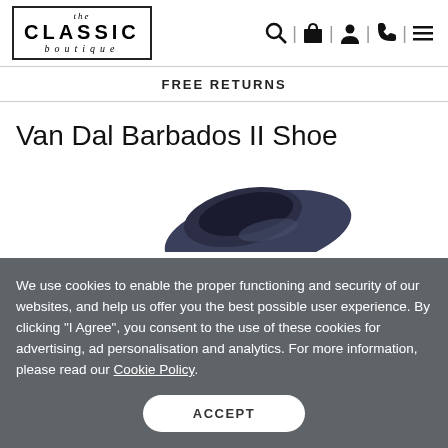[Figure (logo): The Classic Boutique logo with border, nav icons: search, bag, person, phone, menu]
FREE RETURNS
Van Dal Barbados II Shoe
[Figure (photo): Partial top-down view of a navy/dark blue flat shoe against a white background]
We use cookies to enable the proper functioning and security of our websites, and help us offer you the best possible user experience. By clicking "I Agree", you consent to the use of these cookies for advertising, ad personalisation and analytics. For more information, please read our Cookie Policy.
ACCEPT